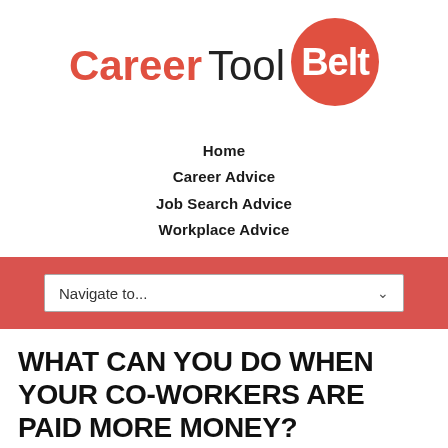[Figure (logo): Career Tool Belt logo with 'Career' in red, 'Tool' in black, and 'Belt' in white text inside a red circle]
Home
Career Advice
Job Search Advice
Workplace Advice
Navigate to...
WHAT CAN YOU DO WHEN YOUR CO-WORKERS ARE PAID MORE MONEY?